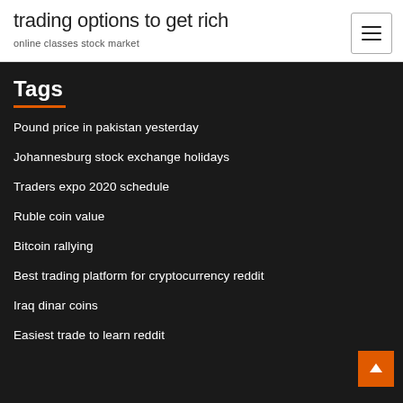trading options to get rich
online classes stock market
Tags
Pound price in pakistan yesterday
Johannesburg stock exchange holidays
Traders expo 2020 schedule
Ruble coin value
Bitcoin rallying
Best trading platform for cryptocurrency reddit
Iraq dinar coins
Easiest trade to learn reddit